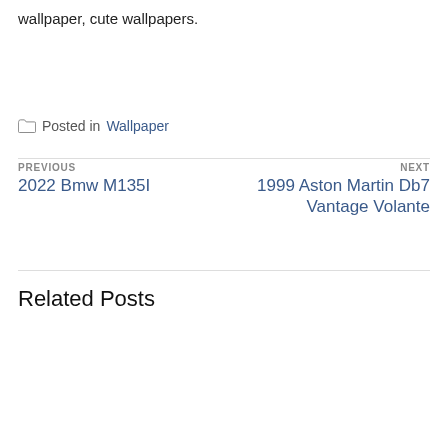wallpaper, cute wallpapers.
Posted in Wallpaper
PREVIOUS
2022 Bmw M135I
NEXT
1999 Aston Martin Db7 Vantage Volante
Related Posts
[Figure (illustration): Comic strip panel partially visible. Title reads 'ZANTY'. Comic panels show characters with speech bubbles: 'HAD TO', 'SE, YOU', 'OUR SERVICE? IT WOULD BE FLAWLESS IF YOU HAPPENED TO NEED IT, WHICH OF COURSE YOU', 'SO...']